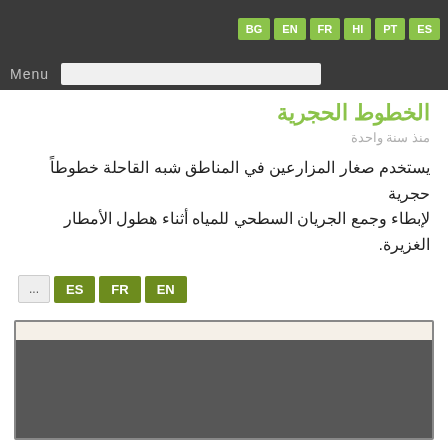Menu | BG EN FR HI PT ES
الخطوط الحجرية
منذ سنة واحدة
يستخدم صغار المزارعين في المناطق شبه القاحلة خطوطاً حجرية لإبطاء وجمع الجريان السطحي للمياه أثناء هطول الأمطار الغزيرة.
... ES FR EN
[Figure (screenshot): Embedded video or media player with a light beige top bar and dark gray main content area]